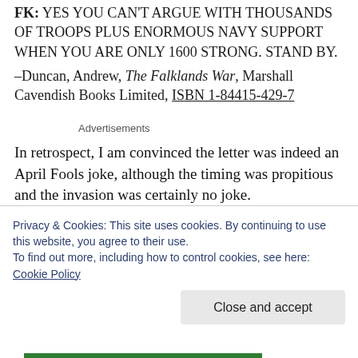FK: YES YOU CAN'T ARGUE WITH THOUSANDS OF TROOPS PLUS ENORMOUS NAVY SUPPORT WHEN YOU ARE ONLY 1600 STRONG. STAND BY. –Duncan, Andrew, The Falklands War, Marshall Cavendish Books Limited, ISBN 1-84415-429-7
Advertisements
In retrospect, I am convinced the letter was indeed an April Fools joke, although the timing was propitious and the invasion was certainly no joke.
Privacy & Cookies: This site uses cookies. By continuing to use this website, you agree to their use.
To find out more, including how to control cookies, see here: Cookie Policy